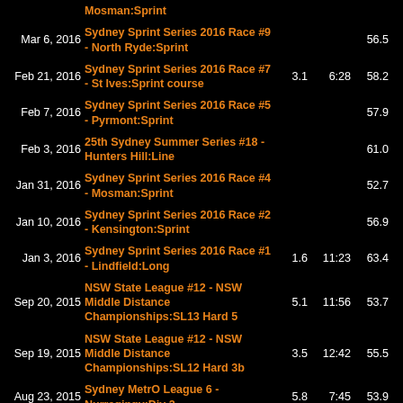| Date | Event | km | Time | Score | Place |
| --- | --- | --- | --- | --- | --- |
|  | Mosman:Sprint |  |  |  |  |
| Mar 6, 2016 | Sydney Sprint Series 2016 Race #9 - North Ryde:Sprint |  |  | 56.5 | 8 |
| Feb 21, 2016 | Sydney Sprint Series 2016 Race #7 - St Ives:Sprint course | 3.1 | 6:28 | 58.2 | 9 |
| Feb 7, 2016 | Sydney Sprint Series 2016 Race #5 - Pyrmont:Sprint |  |  | 57.9 | 7 |
| Feb 3, 2016 | 25th Sydney Summer Series #18 - Hunters Hill:Line |  |  | 61.0 | 11 |
| Jan 31, 2016 | Sydney Sprint Series 2016 Race #4 - Mosman:Sprint |  |  | 52.7 | 13 |
| Jan 10, 2016 | Sydney Sprint Series 2016 Race #2 - Kensington:Sprint |  |  | 56.9 | 9 |
| Jan 3, 2016 | Sydney Sprint Series 2016 Race #1 - Lindfield:Long | 1.6 | 11:23 | 63.4 | 5 |
| Sep 20, 2015 | NSW State League #12 - NSW Middle Distance Championships:SL13 Hard 5 | 5.1 | 11:56 | 53.7 | 3 |
| Sep 19, 2015 | NSW State League #12 - NSW Middle Distance Championships:SL12 Hard 3b | 3.5 | 12:42 | 55.5 | 1 |
| Aug 23, 2015 | Sydney MetrO League 6 - Nurragingy:Div 2 | 5.8 | 7:45 | 53.9 | 5 |
| Aug 16, 2015 | NSW State League #11 - Glenbrook + NSW Schools Champs:Hard 3 |  |  | 52.2 | 2 |